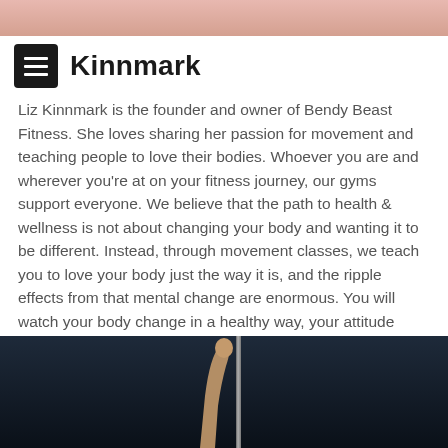[Figure (photo): Top partial photo showing a pink/warm-toned background, cropped at the top of the page]
Kinnmark
Liz Kinnmark is the founder and owner of Bendy Beast Fitness. She loves sharing her passion for movement and teaching people to love their bodies. Whoever you are and wherever you're at on your fitness journey, our gyms support everyone. We believe that the path to health & wellness is not about changing your body and wanting it to be different. Instead, through movement classes, we teach you to love your body just the way it is, and the ripple effects from that mental change are enormous. You will watch your body change in a healthy way, your attitude change, your relationships change, and the way you move through the whole world change.
[Figure (photo): Dark background photo showing a raised arm/hand reaching upward next to a vertical pole, partially visible at the bottom of the page]